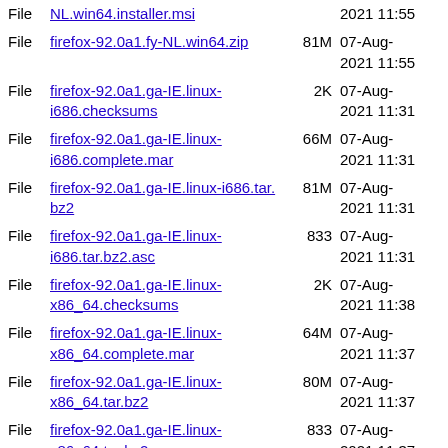File NL.win64.installer.msi 2021 11:55 (partial/truncated at top)
File firefox-92.0a1.fy-NL.win64.zip 81M 07-Aug-2021 11:55
File firefox-92.0a1.ga-IE.linux-i686.checksums 2K 07-Aug-2021 11:31
File firefox-92.0a1.ga-IE.linux-i686.complete.mar 66M 07-Aug-2021 11:31
File firefox-92.0a1.ga-IE.linux-i686.tar.bz2 81M 07-Aug-2021 11:31
File firefox-92.0a1.ga-IE.linux-i686.tar.bz2.asc 833 07-Aug-2021 11:31
File firefox-92.0a1.ga-IE.linux-x86_64.checksums 2K 07-Aug-2021 11:38
File firefox-92.0a1.ga-IE.linux-x86_64.complete.mar 64M 07-Aug-2021 11:37
File firefox-92.0a1.ga-IE.linux-x86_64.tar.bz2 80M 07-Aug-2021 11:37
File firefox-92.0a1.ga-IE.linux-x86_64.tar.bz2.asc 833 07-Aug-2021 11:37
File firefox-92.0a1.ga-IE.mac.checksums 2K 07-Aug-2021 12:36
File firefox-92.0a1.ga-IE.mac.complete.mar 103M 07-Aug-2021 12:36